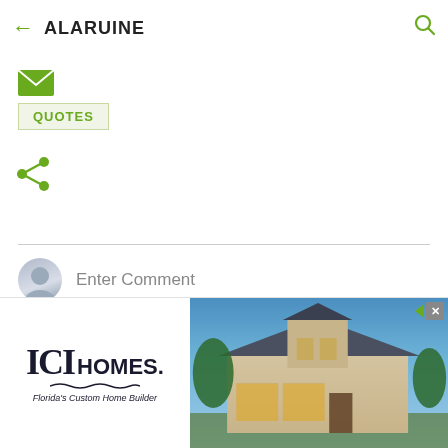ALARUINE
[Figure (illustration): Green envelope/email icon]
QUOTES
[Figure (illustration): Green share icon]
Enter Comment
[Figure (illustration): ICI Homes advertisement with house photo. Left side shows ICI Homes logo with tagline 'Florida's Custom Home Builder'. Right side shows a photo of a luxury home at dusk.]